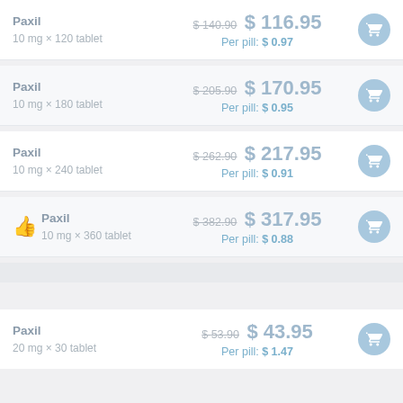| Product | Price | Action |
| --- | --- | --- |
| Paxil
10 mg × 120 tablet | $ 140.90 → $ 116.95
Per pill: $ 0.97 | Add to cart |
| Paxil
10 mg × 180 tablet | $ 205.90 → $ 170.95
Per pill: $ 0.95 | Add to cart |
| Paxil
10 mg × 240 tablet | $ 262.90 → $ 217.95
Per pill: $ 0.91 | Add to cart |
| Paxil
10 mg × 360 tablet | $ 382.90 → $ 317.95
Per pill: $ 0.88 | Add to cart |
| Paxil
20 mg × 30 tablet | $ 53.90 → $ 43.95
Per pill: $ 1.47 | Add to cart |